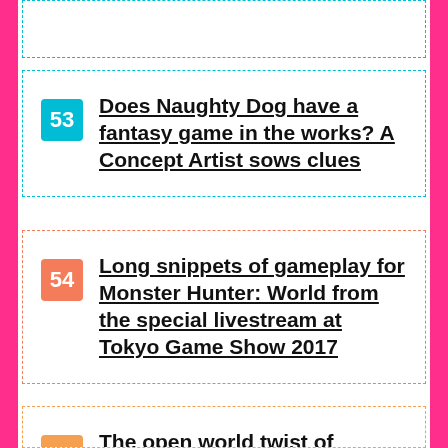53 Does Naughty Dog have a fantasy game in the works? A Concept Artist sows clues
54 Long snippets of gameplay for Monster Hunter: World from the special livestream at Tokyo Game Show 2017
55 The open world twist of Dynasty Warriors 9 in our video preview from TGS 2017